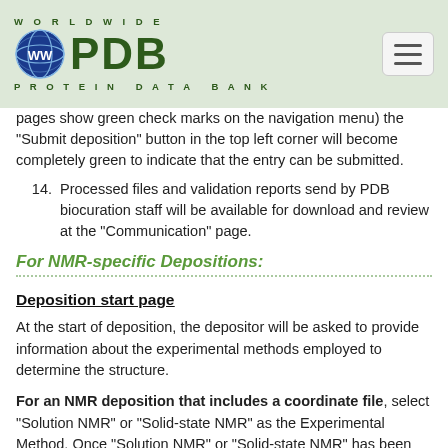WORLDWIDE PDB PROTEIN DATA BANK
pages show green check marks on the navigation menu) the "Submit deposition" button in the top left corner will become completely green to indicate that the entry can be submitted.
14. Processed files and validation reports send by PDB biocuration staff will be available for download and review at the "Communication" page.
For NMR-specific Depositions:
Deposition start page
At the start of deposition, the depositor will be asked to provide information about the experimental methods employed to determine the structure.
For an NMR deposition that includes a coordinate file, select "Solution NMR" or "Solid-state NMR" as the Experimental Method. Once "Solution NMR" or "Solid-state NMR" has been selected as the Experimental Method, you will